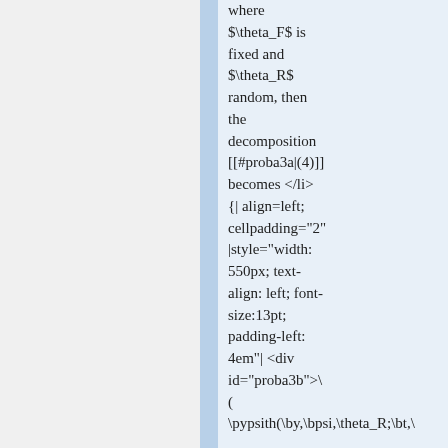where $\theta_F$ is fixed and $\theta_R$ random, then the decomposition [[#proba3a|(4)]] becomes </li> {| align=left; cellpadding="2" |style="width: 550px; text-align: left; font-size:13pt; padding-left: 4em"| <div id="proba3b">\ ( \pypsith(\by,\bpsi,\theta_R;\bt,\